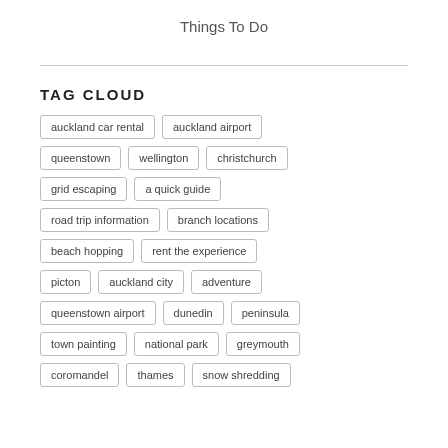Things To Do
TAG CLOUD
auckland car rental
auckland airport
queenstown
wellington
christchurch
grid escaping
a quick guide
road trip information
branch locations
beach hopping
rent the experience
picton
auckland city
adventure
queenstown airport
dunedin
peninsula
town painting
national park
greymouth
coromandel
thames
snow shredding